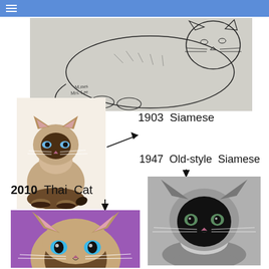[Figure (illustration): 1903 ink sketch of a Siamese cat lying down, with handwritten label 'Siamese']
[Figure (photo): 1903 Siamese cat sitting, seal-point coloring, photo]
1903 Siamese
1947 Old-style Siamese
[Figure (photo): 1947 Old-style Siamese cat, black and white photo, frontal view]
2010 Thai Cat
[Figure (photo): 2010 Thai Cat with purple background, blue eyes, frontal view]